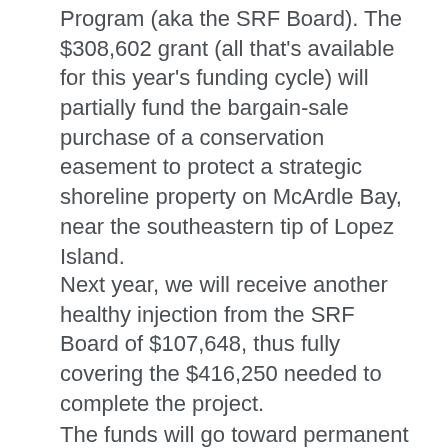Program (aka the SRF Board). The $308,602 grant (all that's available for this year's funding cycle) will partially fund the bargain-sale purchase of a conservation easement to protect a strategic shoreline property on McArdle Bay, near the southeastern tip of Lopez Island.
Next year, we will receive another healthy injection from the SRF Board of $107,648, thus fully covering the $416,250 needed to complete the project.
The funds will go toward permanent